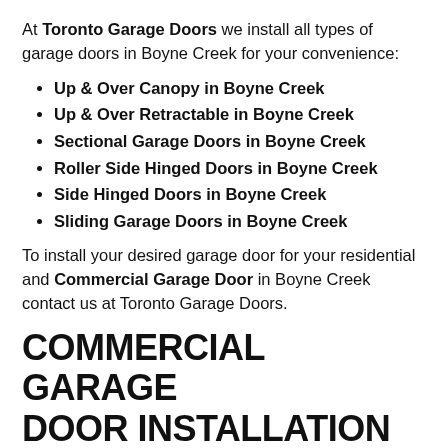At Toronto Garage Doors we install all types of garage doors in Boyne Creek for your convenience:
Up & Over Canopy in Boyne Creek
Up & Over Retractable in Boyne Creek
Sectional Garage Doors in Boyne Creek
Roller Side Hinged Doors in Boyne Creek
Side Hinged Doors in Boyne Creek
Sliding Garage Doors in Boyne Creek
To install your desired garage door for your residential and Commercial Garage Door in Boyne Creek contact us at Toronto Garage Doors.
COMMERCIAL GARAGE DOOR INSTALLATION IN BOYNE CREEK
arage is an important part of any business or mmercial building. You feel secured with a garage